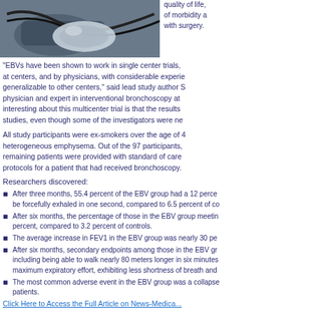[Figure (photo): Medical image showing breathing/respiratory equipment (stethoscope or similar device)]
quality of life, of morbidity a with surgery.
"EBVs have been shown to work in single center trials, at centers, and by physicians, with considerable experie generalizable to other centers," said lead study author S physician and expert in interventional bronchoscopy at interesting about this multicenter trial is that the results studies, even though some of the investigators were ne
All study participants were ex-smokers over the age of 4 heterogeneous emphysema. Out of the 97 participants, remaining patients were provided with standard of care protocols for a patient that had received bronchoscopy.
Researchers discovered:
After three months, 55.4 percent of the EBV group had a 12 perce be forcefully exhaled in one second, compared to 6.5 percent of co
After six months, the percentage of those in the EBV group meetin percent, compared to 3.2 percent of controls.
The average increase in FEV1 in the EBV group was nearly 30 pe
After six months, secondary endpoints among those in the EBV gr including being able to walk nearly 80 meters longer in six minutes maximum expiratory effort, exhibiting less shortness of breath and
The most common adverse event in the EBV group was a collapse patients.
Click Here to Access the Full Article on News-Medica...